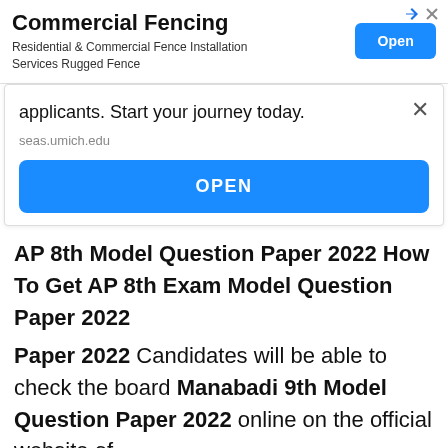[Figure (screenshot): Advertisement banner for Commercial Fencing with 'Open' button]
applicants. Start your journey today.
seas.umich.edu
OPEN
AP 8th Model Question Paper 2022 How To Get AP 8th Exam Model Question Paper 2022
Candidates will be able to check the board Manabadi 9th Model Question Paper 2022 online on the official website of